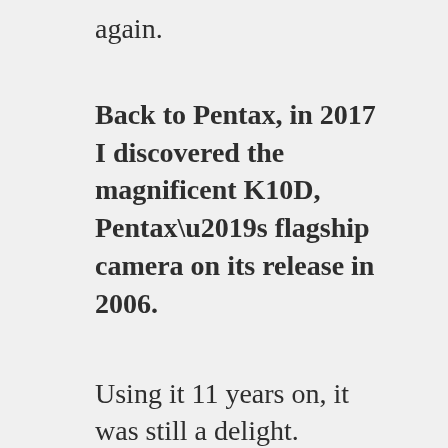again.
Back to Pentax, in 2017 I discovered the magnificent K10D, Pentax’s flagship camera on its release in 2006.
Using it 11 years on, it was still a delight.
The VF was bigger and brighter